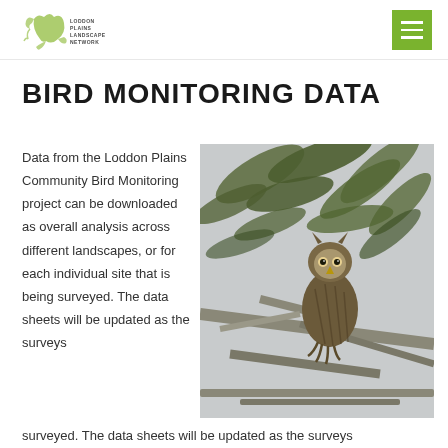Loddon Plains Landscape Network
BIRD MONITORING DATA
Data from the Loddon Plains Community Bird Monitoring project can be downloaded as overall analysis across different landscapes, or for each individual site that is being surveyed. The data sheets will be updated as the surveys
[Figure (photo): An owl perched on a bare branch amid eucalyptus leaves, photographed in natural light with a pale grey sky background.]